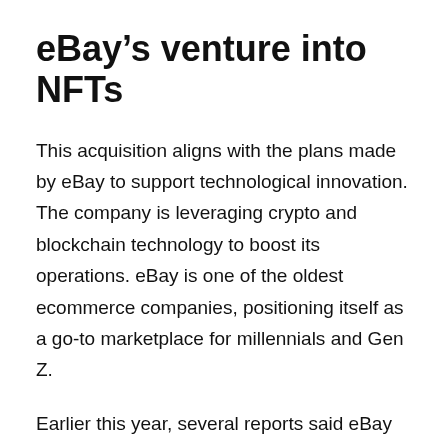eBay's venture into NFTs
This acquisition aligns with the plans made by eBay to support technological innovation. The company is leveraging crypto and blockchain technology to boost its operations. eBay is one of the oldest ecommerce companies, positioning itself as a go-to marketplace for millennials and Gen Z.
Earlier this year, several reports said eBay was looking to adopt cryptocurrency payments. This is in line with the effort made by several companies to allow their users to adopt cryptocurrency payments. Ecommerce platforms have been pushing for crypto payments to grow their user base.
One of the top use cases for NFTs is digital artwork. Over the past year, there has been a rise in digital artworks in the NFT